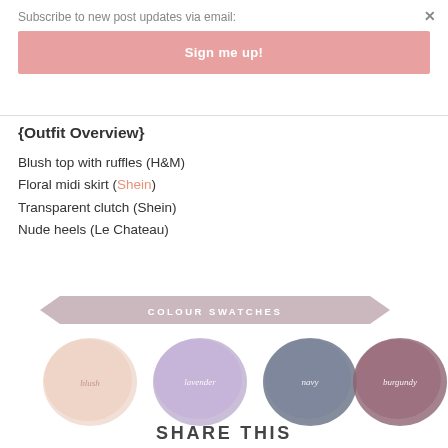Subscribe to new post updates via email:
Sign me up!
{Outfit Overview}
Blush top with ruffles (H&M)
Floral midi skirt (Shein)
Transparent clutch (Shein)
Nude heels (Le Chateau)
[Figure (infographic): Colour swatches banner with four paint-stroke circles labeled blush, lavender, navy, burgundy]
SHARE THIS